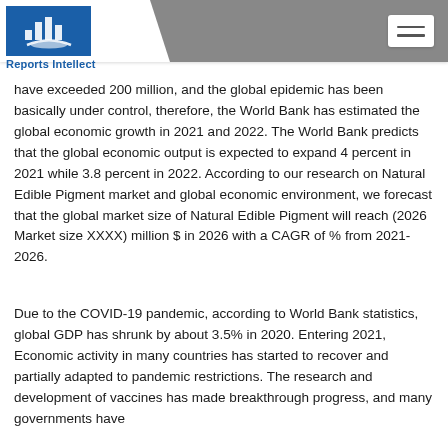Reports Intellect
have exceeded 200 million, and the global epidemic has been basically under control, therefore, the World Bank has estimated the global economic growth in 2021 and 2022. The World Bank predicts that the global economic output is expected to expand 4 percent in 2021 while 3.8 percent in 2022. According to our research on Natural Edible Pigment market and global economic environment, we forecast that the global market size of Natural Edible Pigment will reach (2026 Market size XXXX) million $ in 2026 with a CAGR of % from 2021-2026.
Due to the COVID-19 pandemic, according to World Bank statistics, global GDP has shrunk by about 3.5% in 2020. Entering 2021, Economic activity in many countries has started to recover and partially adapted to pandemic restrictions. The research and development of vaccines has made breakthrough progress, and many governments have